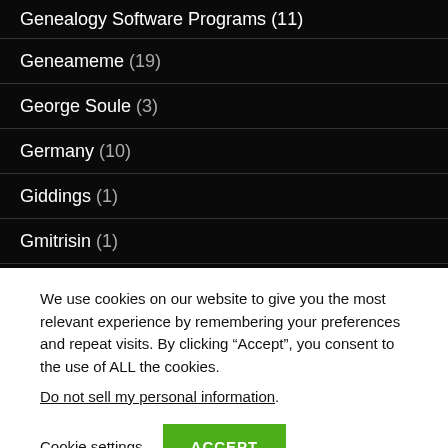Genealogy Software Programs (11)
Geneameme (19)
George Soule (3)
Germany (10)
Giddings (1)
Gmitrisin (1)
Goddard (2)
We use cookies on our website to give you the most relevant experience by remembering your preferences and repeat visits. By clicking “Accept”, you consent to the use of ALL the cookies.
Do not sell my personal information.
Cookie settings  ACCEPT